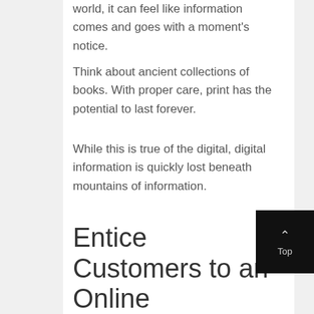world, it can feel like information comes and goes with a moment's notice.
Think about ancient collections of books. With proper care, print has the potential to last forever.
While this is true of the digital, digital information is quickly lost beneath mountains of information.
Entice Customers to an Online